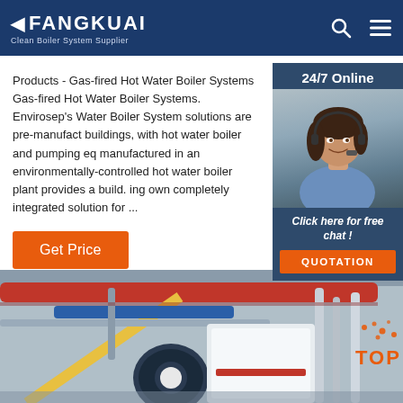FANGKUAI - Clean Boiler System Supplier
Products - Gas-fired Hot Water Boiler Systems Gas-fired Hot Water Boiler Systems. Envirosep's Water Boiler System solutions are pre-manufactured buildings, with hot water boiler and pumping eq manufactured in an environmentally-controlled hot water boiler plant provides a build. ing own completely integrated solution for ...
[Figure (photo): Customer service representative wearing headset, smiling, with '24/7 Online' banner above and 'Click here for free chat! QUOTATION' button below]
Get Price
[Figure (photo): Industrial boiler plant interior showing red, blue and yellow pipes, boiler equipment, with TOP badge in lower right corner]